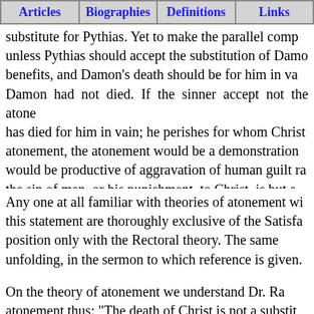Articles | Biographies | Definitions | Links
substitute for Pythias. Yet to make the parallel comp unless Pythias should accept the substitution of Damo benefits, and Damon's death should be for him in va Damon had not died. If the sinner accept not the atone has died for him in vain; he perishes for whom Christ atonement, the atonement would be a demonstration would be productive of aggravation of human guilt ra the sin of man, or his punishment, to Christ, is but a only conceptual; just as we might say that Damon w language and thought, neither crime, guilt, nor punishr
Any one at all familiar with theories of atonement wi this statement are thoroughly exclusive of the Satisfa position only with the Rectoral theory. The same unfolding, in the sermon to which reference is given.
On the theory of atonement we understand Dr. Ra atonement thus: "The death of Christ is not a substit necessity of an atonement is not found in the fact